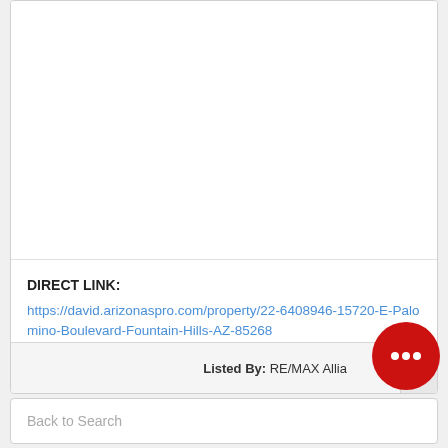DIRECT LINK:
https://david.arizonaspro.com/property/22-6408946-15720-E-Palomino-Boulevard-Fountain-Hills-AZ-85268
Listed By: RE/MAX Allia...
Back to Search